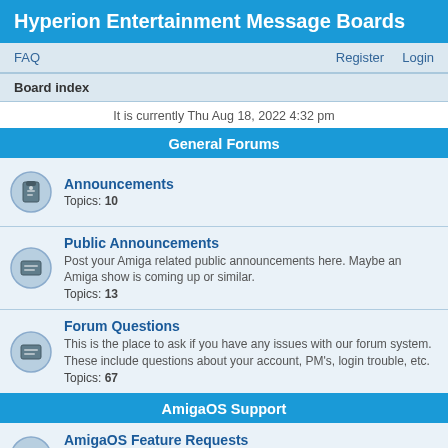Hyperion Entertainment Message Boards
FAQ   Register   Login
Board index
It is currently Thu Aug 18, 2022 4:32 pm
General Forums
Announcements
Topics: 10
Public Announcements
Post your Amiga related public announcements here. Maybe an Amiga show is coming up or similar.
Topics: 13
Forum Questions
This is the place to ask if you have any issues with our forum system. These include questions about your account, PM's, login trouble, etc.
Topics: 67
AmigaOS Support
AmigaOS Feature Requests
AmigaOS users can make feature requests in this forum.
Topics: 229
General AmigaOS